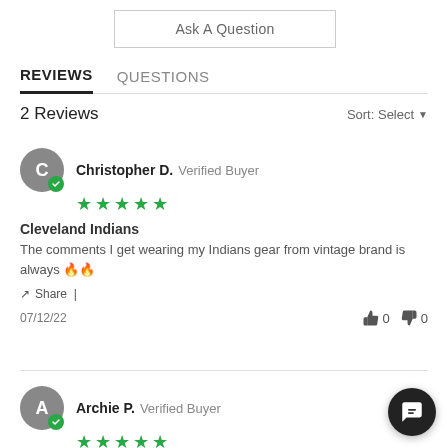Ask A Question
REVIEWS   QUESTIONS
2 Reviews
Sort: Select
Christopher D. Verified Buyer ★★★★★
Cleveland Indians
The comments I get wearing my Indians gear from vintage brand is always 🔥🔥
Share |
07/12/22   👍 0   👎 0
Archie P. Verified Buyer ★★★★★